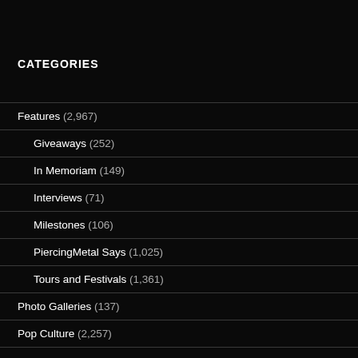CATEGORIES
Features (2,967)
Giveaways (252)
In Memoriam (149)
Interviews (71)
Milestones (106)
PiercingMetal Says (1,025)
Tours and Festivals (1,361)
Photo Galleries (137)
Pop Culture (2,257)